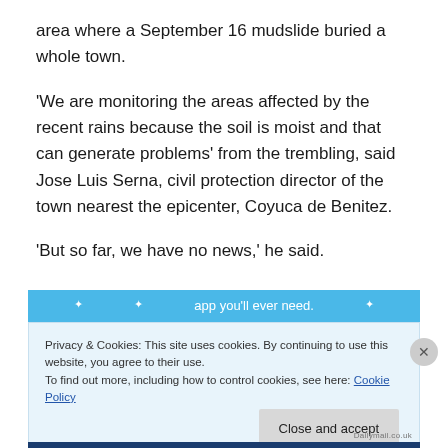area where a September 16 mudslide buried a whole town.
'We are monitoring the areas affected by the recent rains because the soil is moist and that can generate problems' from the trembling, said Jose Luis Serna, civil protection director of the town nearest the epicenter, Coyuca de Benitez.
'But so far, we have no news,' he said.
[Figure (screenshot): Blue banner with white star icons and partial text visible]
Privacy & Cookies: This site uses cookies. By continuing to use this website, you agree to their use.
To find out more, including how to control cookies, see here: Cookie Policy
Close and accept